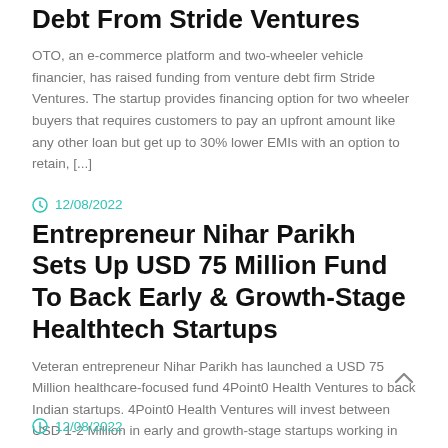Debt From Stride Ventures
OTO, an e-commerce platform and two-wheeler vehicle financier, has raised funding from venture debt firm Stride Ventures. The startup provides financing option for two wheeler buyers that requires customers to pay an upfront amount like any other loan but get up to 30% lower EMIs with an option to retain, [...]
12/08/2022
Entrepreneur Nihar Parikh Sets Up USD 75 Million Fund To Back Early & Growth-Stage Healthtech Startups
Veteran entrepreneur Nihar Parikh has launched a USD 75 Million healthcare-focused fund 4Point0 Health Ventures to back Indian startups. 4Point0 Health Ventures will invest between USD 1-2 Million in early and growth-stage startups working in the healthcare segment
12/08/2022